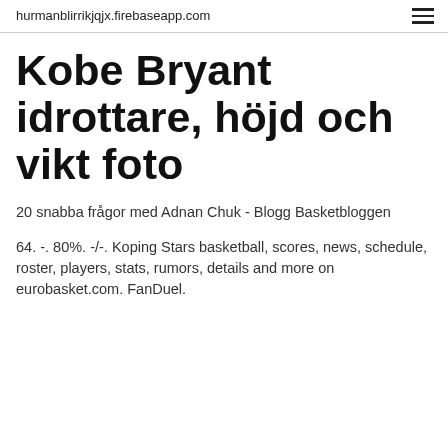hurmanblirrikjqjx.firebaseapp.com
Kobe Bryant idrottare, höjd och vikt foto
20 snabba frågor med Adnan Chuk - Blogg Basketbloggen
64. -. 80%. -/-. Koping Stars basketball, scores, news, schedule, roster, players, stats, rumors, details and more on eurobasket.com. FanDuel.